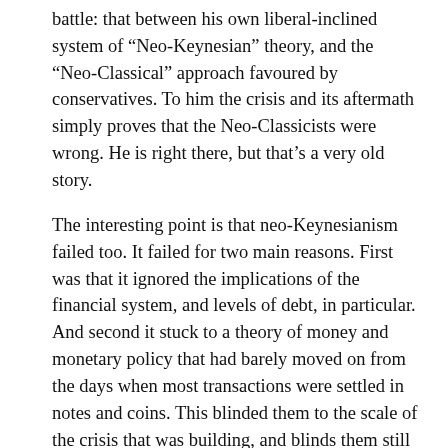battle: that between his own liberal-inclined system of “Neo-Keynesian” theory, and the “Neo-Classical” approach favoured by conservatives. To him the crisis and its aftermath simply proves that the Neo-Classicists were wrong. He is right there, but that’s a very old story.
The interesting point is that neo-Keynesianism failed too. It failed for two main reasons. First was that it ignored the implications of the financial system, and levels of debt, in particular. And second it stuck to a theory of money and monetary policy that had barely moved on from the days when most transactions were settled in notes and coins. This blinded them to the scale of the crisis that was building, and blinds them still to the effectiveness of different policy options. In particular they place too much faith in the usefulness of a loose monetary policy, and an obsession with the rate of inflation